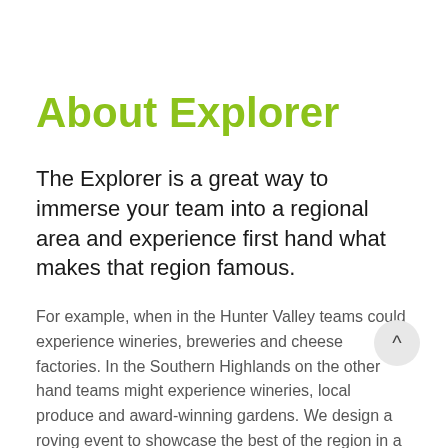About Explorer
The Explorer is a great way to immerse your team into a regional area and experience first hand what makes that region famous.
For example, when in the Hunter Valley teams could experience wineries, breweries and cheese factories. In the Southern Highlands on the other hand teams might experience wineries, local produce and award-winning gardens. We design a roving event to showcase the best of the region in a fun